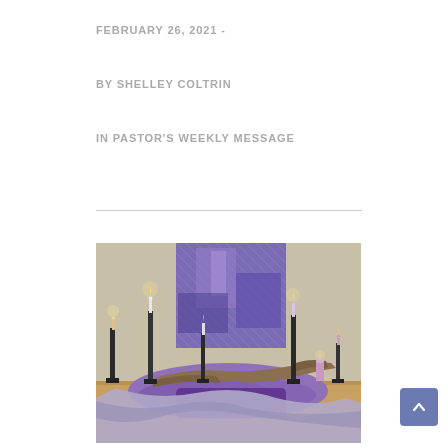FEBRUARY 26, 2021 -
BY SHELLEY COLTRIN
IN PASTOR'S WEEKLY MESSAGE
[Figure (photo): Church altar decorated with purple fabric, candles on black candlesticks, driftwood, and a purple abstract painting in the background — a Lenten altar arrangement.]